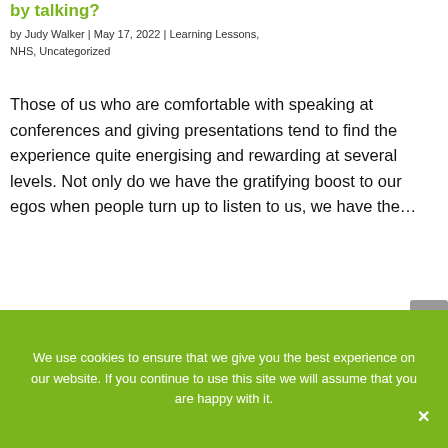by talking?
by Judy Walker | May 17, 2022 | Learning Lessons, NHS, Uncategorized
Those of us who are comfortable with speaking at conferences and giving presentations tend to find the experience quite energising and rewarding at several levels. Not only do we have the gratifying boost to our egos when people turn up to listen to us, we have the…
[Figure (photo): Partial image of a room with green and teal colored elements visible at the bottom of the page]
We use cookies to ensure that we give you the best experience on our website. If you continue to use this site we will assume that you are happy with it.